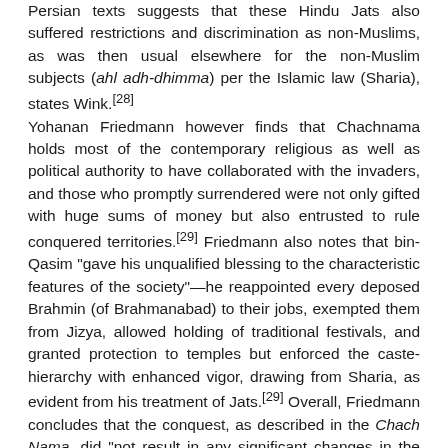Persian texts suggests that these Hindu Jats also suffered restrictions and discrimination as non-Muslims, as was then usual elsewhere for the non-Muslim subjects (ahl adh-dhimma) per the Islamic law (Sharia), states Wink.[28] Yohanan Friedmann however finds that Chachnama holds most of the contemporary religious as well as political authority to have collaborated with the invaders, and those who promptly surrendered were not only gifted with huge sums of money but also entrusted to rule conquered territories.[29] Friedmann also notes that bin-Qasim "gave his unqualified blessing to the characteristic features of the society"—he reappointed every deposed Brahmin (of Brahmanabad) to their jobs, exempted them from Jizya, allowed holding of traditional festivals, and granted protection to temples but enforced the caste-hierarchy with enhanced vigor, drawing from Sharia, as evident from his treatment of Jats.[29] Overall, Friedmann concludes that the conquest, as described in the Chach Nama, did "not result in any significant changes in the structure of Indian society".[29] According to Johnson and Koyama, quoting Bosworth, there were "certainly massacres in the towns" in the